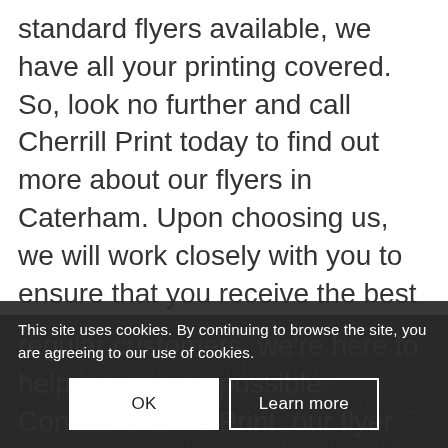standard flyers available, we have all your printing covered. So, look no further and call Cherrill Print today to find out more about our flyers in Caterham. Upon choosing us, we will work closely with you to ensure that you receive the best possible service for your printing. As one of the leading flyer printers in Caterham, we're here to take care of all your printing needs. Our team are not only highly experienced, but our printing service is second to none. From one off orders to regular customers, we're here to help in any way possible. Contact Cherrill Print, our flyer printing in Caterham. We even offer free quotes with all our printing services!
This site uses cookies. By continuing to browse the site, you are agreeing to our use of cookies.
OK
Learn more